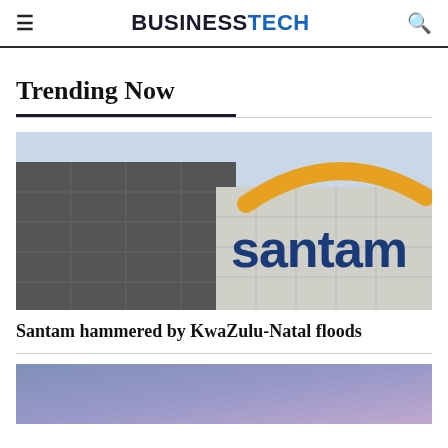≡  BUSINESSTECH  🔍
Trending Now
[Figure (photo): Santam building exterior with the Santam logo sign — large blue text 'santam' with an orange arc/umbrella above it, against a light blue sky background.]
Santam hammered by KwaZulu-Natal floods
[Figure (photo): Partial view of a second article image with a purple/blue gradient background, cropped at the bottom of the page.]